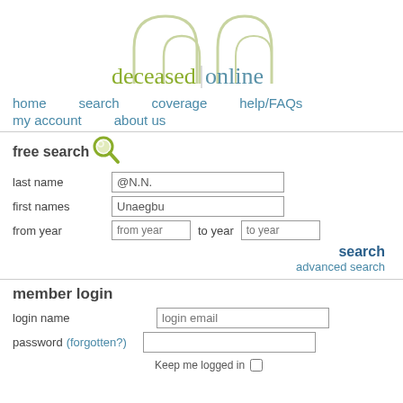[Figure (logo): Deceased Online logo with arch/headstones SVG illustration above text 'deceased|online']
home  search  coverage  help/FAQs  my account  about us
free search
last name  @N.N.
first names  Unaegbu
from year  [from year]  to year  [to year]
search
advanced search
member login
login name  [login email]
password  (forgotten?)  []
Keep me logged in []